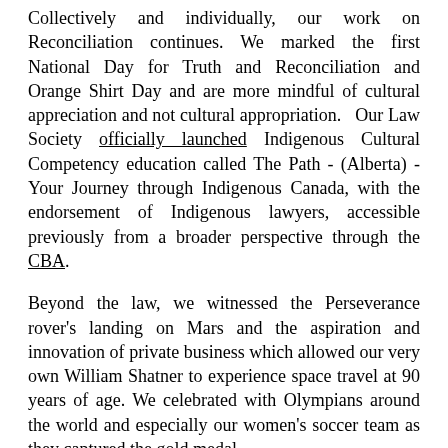Collectively and individually, our work on Reconciliation continues. We marked the first National Day for Truth and Reconciliation and Orange Shirt Day and are more mindful of cultural appreciation and not cultural appropriation.   Our Law Society officially launched Indigenous Cultural Competency education called The Path - (Alberta) - Your Journey through Indigenous Canada, with the endorsement of Indigenous lawyers, accessible previously from a broader perspective through the CBA.
Beyond the law, we witnessed the Perseverance rover's landing on Mars and the aspiration and innovation of private business which allowed our very own William Shatner to experience space travel at 90 years of age. We celebrated with Olympians around the world and especially our women's soccer team as they captured the gold medal.
What lies ahead?
We remain hopeful that our covid numbers will decline